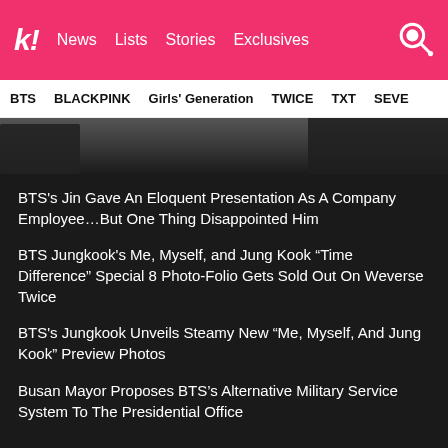k! News Lists Stories Exclusives
BTS BLACKPINK Girls' Generation TWICE TXT SEVE
[Figure (photo): Dark photo strip showing silhouettes of people against a blurred background]
BTS's Jin Gave An Eloquent Presentation As A Company Employee…But One Thing Disappointed Him
BTS Jungkook's Me, Myself, and Jung Kook “Time Difference” Special 8 Photo-Folio Gets Sold Out On Weverse Twice
BTS's Jungkook Unveils Steamy New “Me, Myself, And Jung Kook” Preview Photos
Busan Mayor Proposes BTS’s Alternative Military Service System To The Presidential Office
See more BTS